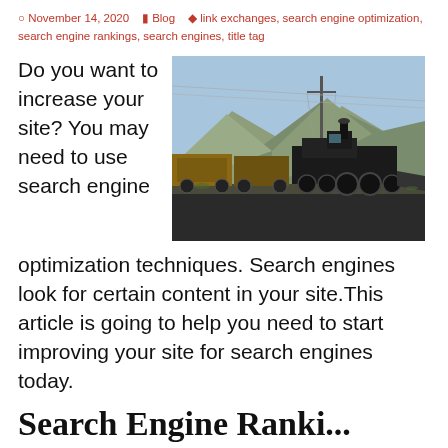November 14, 2020  Blog  link exchanges, search engine optimization, search engine rankings, search engines, title tag
Do you want to increase your site? You may need to use search engine optimization techniques. Search engines look for certain content in your site. This article is going to help you need to start improving your site for search engines today.
[Figure (photo): A vintage steam locomotive pulling freight cars through a mountainous desert landscape with utility poles and blue sky.]
Search Engine Rankings